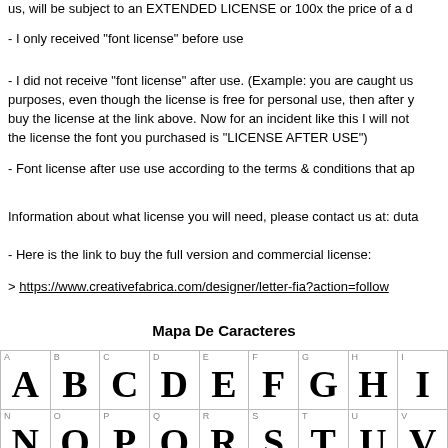us, will be subject to an EXTENDED LICENSE or 100x the price of a d
- I only received "font license" before use
- I did not receive "font license" after use. (Example: you are caught us purposes, even though the license is free for personal use, then after y buy the license at the link above. Now for an incident like this I will not the license the font you purchased is "LICENSE AFTER USE")
- Font license after use use according to the terms & conditions that ap
Information about what license you will need, please contact us at: duta
- Here is the link to buy the full version and commercial license:
> https://www.creativefabrica.com/designer/letter-fia?action=follow
Mapa De Caracteres
| A | B | C | D | E | F | G | H | I |
| --- | --- | --- | --- | --- | --- | --- | --- | --- |
| A | B | C | D | E | F | G | H | I |
| N | O | P | Q | R | S | T | U | V |